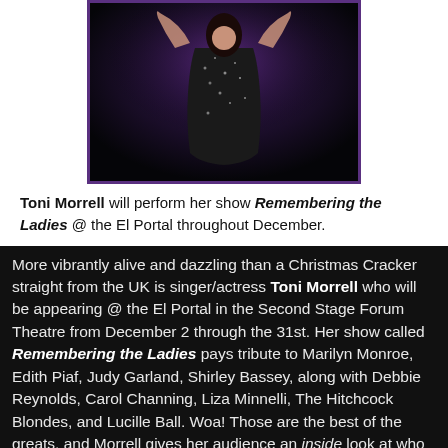[Figure (photo): Performer on stage in a sparkly black dress against a dark purple-lit background]
Toni Morrell will perform her show Remembering the Ladies @ the El Portal throughout December.
More vibrantly alive and dazzling than a Christmas Cracker straight from the UK is singer/actress Toni Morrell who will be appearing @ the El Portal in the Second Stage Forum Theatre from December 2 through the 31st. Her show called Remembering the Ladies pays tribute to Marilyn Monroe, Edith Piaf, Judy Garland, Shirley Bassey, along with Debbie Reynolds, Carol Channing, Liza Minnelli, The Hitchcock Blondes, and Lucille Ball. Woa! Those are the best of the greats, and Morrell gives her audience an inside look at who these